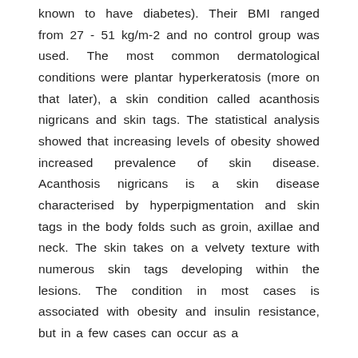known to have diabetes). Their BMI ranged from 27 - 51 kg/m-2 and no control group was used. The most common dermatological conditions were plantar hyperkeratosis (more on that later), a skin condition called acanthosis nigricans and skin tags. The statistical analysis showed that increasing levels of obesity showed increased prevalence of skin disease. Acanthosis nigricans is a skin disease characterised by hyperpigmentation and skin tags in the body folds such as groin, axillae and neck. The skin takes on a velvety texture with numerous skin tags developing within the lesions. The condition in most cases is associated with obesity and insulin resistance, but in a few cases can occur as a